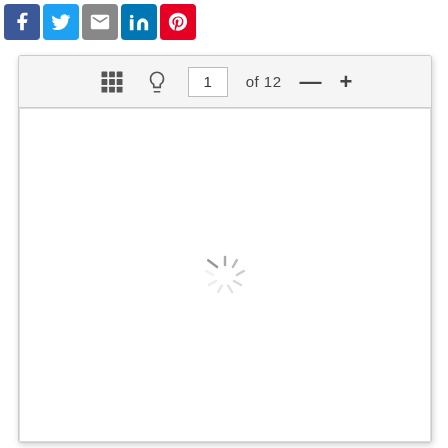[Figure (screenshot): Social share buttons row: Facebook (blue), Twitter (light blue), Email (grey), LinkedIn (blue), Pinterest (red)]
[Figure (screenshot): Document viewer UI with toolbar showing grid icon, lightbulb icon, page input showing '1', text 'of 12', minus button, plus button. Below is a white content area with a loading spinner in the center.]